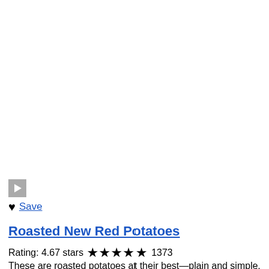[Figure (other): Video play button thumbnail (gray square with white triangle play icon)]
♥ Save
Roasted New Red Potatoes
Rating: 4.67 stars ★★★★★ 1373
These are roasted potatoes at their best—plain and simple. Red potatoes are tossed with olive oil, and salt and pepper, and then